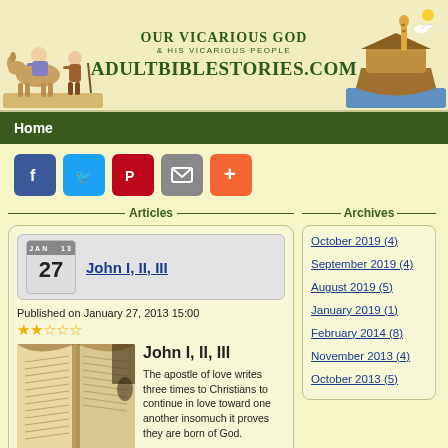OUR VICARIOUS GOD & HIS VICARIOUS PEOPLE — ADULTBIBLESTORIES.COM
Home
[Figure (infographic): Social share buttons: Facebook, Twitter, Pinterest, Email, Plus]
Articles
Archives
John I, II, III
Published on January 27, 2013 15:00
★★☆☆☆
[Figure (photo): Open Bible book photo]
John I, II, III
The apostle of love writes three times to Christians to continue in love toward one another insomuch it proves they are born of God.
October 2019 (4)
September 2019 (4)
August 2019 (5)
January 2019 (1)
February 2014 (8)
November 2013 (4)
October 2013 (5)